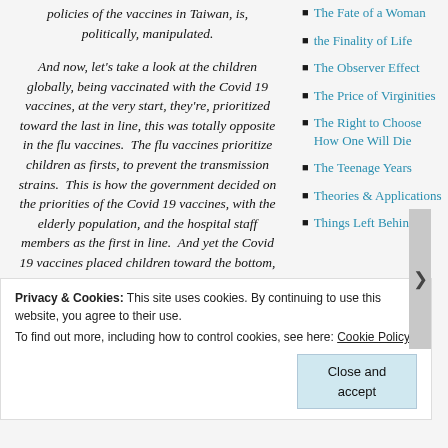policies of the vaccines in Taiwan, is, politically, manipulated.
And now, let's take a look at the children globally, being vaccinated with the Covid 19 vaccines, at the very start, they're, prioritized toward the last in line, this was totally opposite in the flu vaccines. The flu vaccines prioritize children as firsts, to prevent the transmission strains. This is how the government decided on the priorities of the Covid 19 vaccines, with the elderly population, and the hospital staff members as the first in line. And yet the Covid 19 vaccines placed children toward the bottom,
The Fate of a Woman
the Finality of Life
The Observer Effect
The Price of Virginities
The Right to Choose How One Will Die
The Teenage Years
Theories & Applications
Things Left Behind
Privacy & Cookies: This site uses cookies. By continuing to use this website, you agree to their use. To find out more, including how to control cookies, see here: Cookie Policy